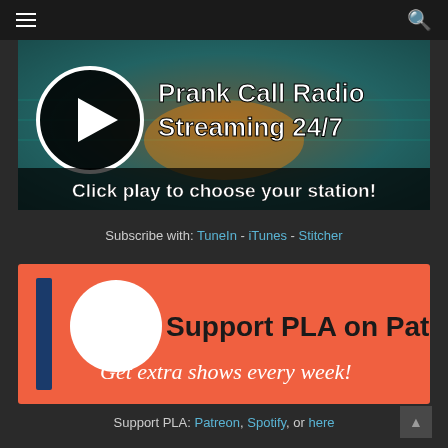≡ (hamburger menu) and search icon
[Figure (screenshot): Prank Call Radio Streaming 24/7 banner with play button icon and text 'Click play to choose your station!']
Subscribe with: TuneIn - iTunes - Stitcher
[Figure (illustration): Support PLA on Patreon banner with orange background, blue stripe, circle logo, bold black text 'Support PLA on Patreon' and italic white text 'Get extra shows every week!']
Support PLA: Patreon, Spotify, or here